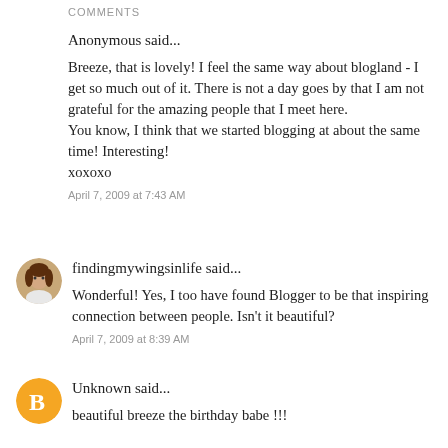COMMENTS
Anonymous said...
Breeze, that is lovely! I feel the same way about blogland - I get so much out of it. There is not a day goes by that I am not grateful for the amazing people that I meet here.
You know, I think that we started blogging at about the same time! Interesting!
xoxoxo
April 7, 2009 at 7:43 AM
[Figure (photo): Round profile photo of a woman with brown hair]
findingmywingsinlife said...
Wonderful! Yes, I too have found Blogger to be that inspiring connection between people. Isn't it beautiful?
April 7, 2009 at 8:39 AM
[Figure (logo): Orange circle with white Blogger 'B' icon]
Unknown said...
beautiful breeze the birthday babe !!!